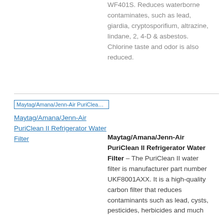WF401S. Reduces waterborne contaminates, such as lead, giardia, cryptosporifium, altrazine, lindane, 2, 4-D & asbestos. Chlorine taste and odor is also reduced.
[Figure (other): Maytag/Amana/Jenn-Air PuriClean II Refrigerator Water Filter product image link]
Maytag/Amana/Jenn-Air PuriClean II Refrigerator Water Filter – The PuriClean II water filter is manufacturer part number UKF8001AXX. It is a high-quality carbon filter that reduces contaminants such as lead, cysts, pesticides, herbicides and much